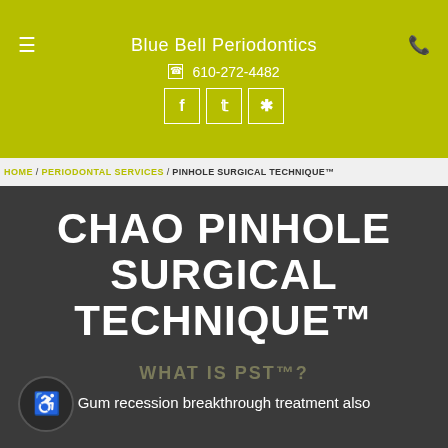Blue Bell Periodontics
610-272-4482
Facebook, Twitter, Yelp social icons
HOME / PERIODONTAL SERVICES / PINHOLE SURGICAL TECHNIQUE™
CHAO PINHOLE SURGICAL TECHNIQUE™
WHAT IS PST™?
Gum recession breakthrough treatment also